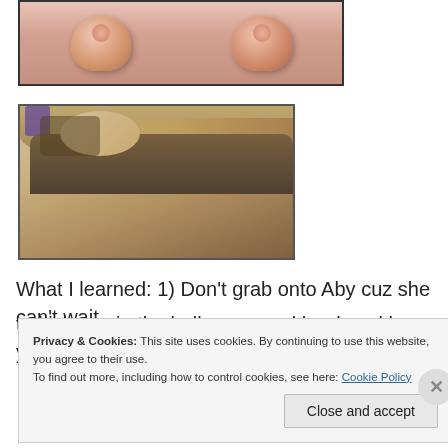[Figure (photo): Close-up photo of two knees/knuckles with reddened skin marks, shown against a dark background]
[Figure (photo): Photo of a person with blonde hair wearing a dark patterned top, arms visible in foreground]
What I learned:  1)  Don't grab onto Aby cuz she can't wait to kick you in the balls or pound her knuckles on you.  2)
Privacy & Cookies: This site uses cookies. By continuing to use this website, you agree to their use.
To find out more, including how to control cookies, see here: Cookie Policy